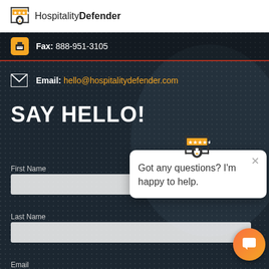HospitalityDefender
Fax: 888-951-3105
Email: hello@hospitalitydefender.com
SAY HELLO!
First Name
Last Name
Email
[Figure (screenshot): Chat popup widget with logo icon at top, close X button, and message: Got any questions? I'm happy to help.]
[Figure (illustration): Orange circular chat button in bottom right corner]